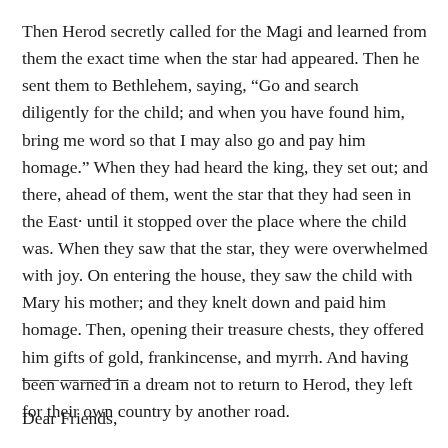Then Herod secretly called for the Magi and learned from them the exact time when the star had appeared. Then he sent them to Bethlehem, saying, “Go and search diligently for the child; and when you have found him, bring me word so that I may also go and pay him homage.” When they had heard the king, they set out; and there, ahead of them, went the star that they had seen in the East· until it stopped over the place where the child was. When they saw that the star, they were overwhelmed with joy. On entering the house, they saw the child with Mary his mother; and they knelt down and paid him homage. Then, opening their treasure chests, they offered him gifts of gold, frankincense, and myrrh. And having been warned in a dream not to return to Herod, they left for their own country by another road.
—————–
Dear Friends,